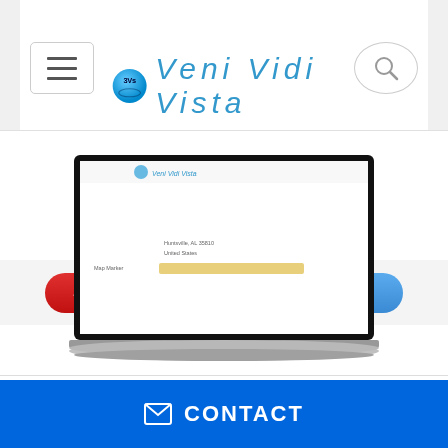[Figure (screenshot): Website header with 3Vs Veni Vidi Vista logo, hamburger menu button on left, search icon on right]
[Figure (screenshot): CTA bar with red SUPPORT button and blue GET STARTED button on gray background]
[Figure (screenshot): Laptop computer showing a web application interface with address and map marker fields]
[Figure (screenshot): Blue footer bar with envelope icon and CONTACT text]